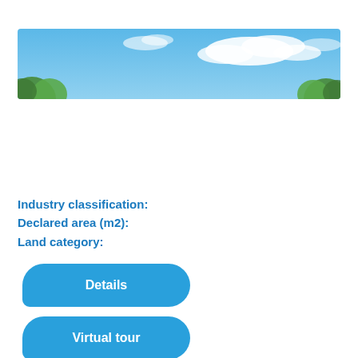[Figure (photo): Outdoor photo showing blue sky with white clouds and green tree tops visible at the lower left and lower right edges.]
Industry classification:
Declared area (m2):
Land category:
Details
Virtual tour